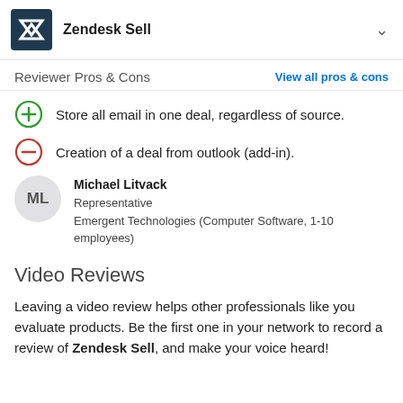Zendesk Sell
Reviewer Pros & Cons
Store all email in one deal, regardless of source.
Creation of a deal from outlook (add-in).
Michael Litvack
Representative
Emergent Technologies (Computer Software, 1-10 employees)
Video Reviews
Leaving a video review helps other professionals like you evaluate products. Be the first one in your network to record a review of Zendesk Sell, and make your voice heard!